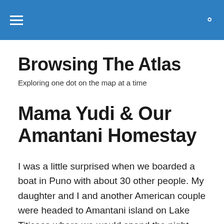Browsing The Atlas — navigation header with menu and search icons
Browsing The Atlas
Exploring one dot on the map at a time
Mama Yudi & Our Amantani Homestay
I was a little surprised when we boarded a boat in Puno with about 30 other people. My daughter and I and another American couple were headed to Amantani island on Lake Titicaca where we would spend the night with a local family. Surely all these people weren't doing homestays, too, were they? How many hosts were there